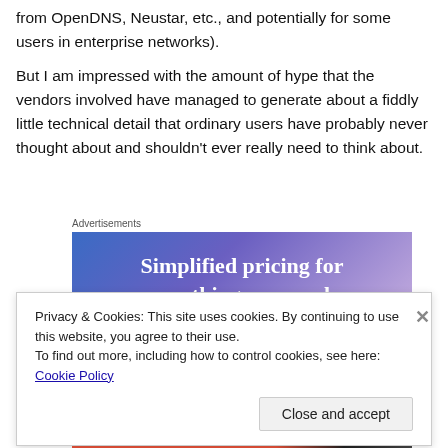from OpenDNS, Neustar, etc., and potentially for some users in enterprise networks).
But I am impressed with the amount of hype that the vendors involved have managed to generate about a fiddly little technical detail that ordinary users have probably never thought about and shouldn't ever really need to think about.
[Figure (other): Advertisement banner with blue-to-purple gradient background showing text: 'Simplified pricing for everything you need']
Privacy & Cookies: This site uses cookies. By continuing to use this website, you agree to their use.
To find out more, including how to control cookies, see here: Cookie Policy
Close and accept